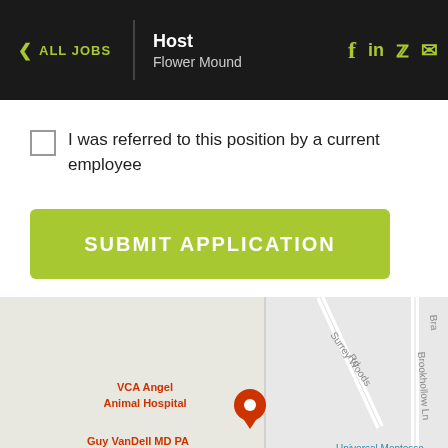< ALL JOBS | Host Flower Mound
I was referred to this position by a current employee
SUBMIT APPLICATION
[Figure (map): Google Maps view showing Flower Mound area with landmarks: VCA Angel Animal Hospital, Guy VanDell MD PA, Mattito's Tex-Mex, Flower Mound Plastic Surgery, Calloway's Nursery, Universal Montessori, Surrey Woods Rd, Brookhollow Ln, Firewheel Dr, Glenridge Dr]